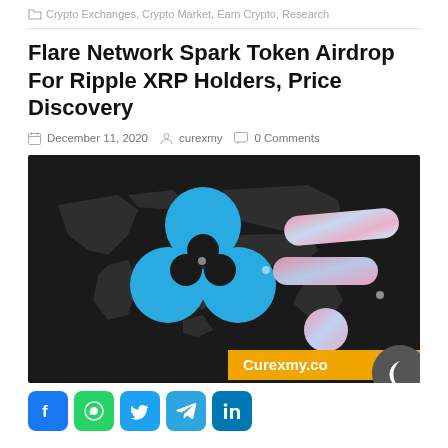Crypto Exchanges, Crypto Market, Earn Crypto, Research
Flare Network Spark Token Airdrop For Ripple XRP Holders, Price Discovery
December 11, 2020   curexmy   0 Comments
[Figure (photo): Dark world map background with blue Ripple XRP logo on the left and pink/blue marbled Flare Network logo on the right, with Curexmy.co watermark banner at bottom]
[Figure (logo): Social share icons: Facebook, WhatsApp, Twitter, Telegram, LinkedIn]